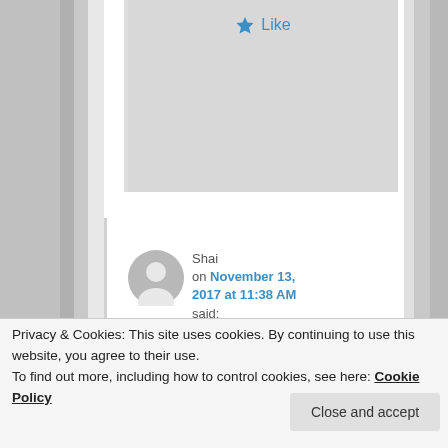[Figure (screenshot): Like button with blue star icon at top of page]
Shai
on November 13, 2017 at 11:38 AM
said:
Hey Ricky,
Really fascinating. I'm a medical student who has
Privacy & Cookies: This site uses cookies. By continuing to use this website, you agree to their use.
To find out more, including how to control cookies, see here: Cookie Policy
Close and accept
I would love to speak to